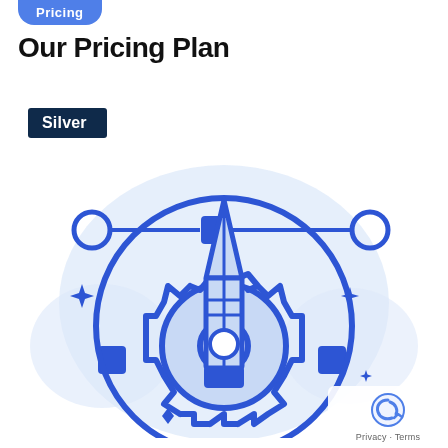Pricing
Our Pricing Plan
Silver
[Figure (illustration): A blue line-art illustration of a pencil rocket launching through a gear/cogwheel, surrounded by a circular design with bezier curve control nodes (circles and squares) on a horizontal bar at the top, decorative sparkle/star shapes, and a light blue blob background. The overall theme suggests creative design/software pricing.]
Privacy · Terms